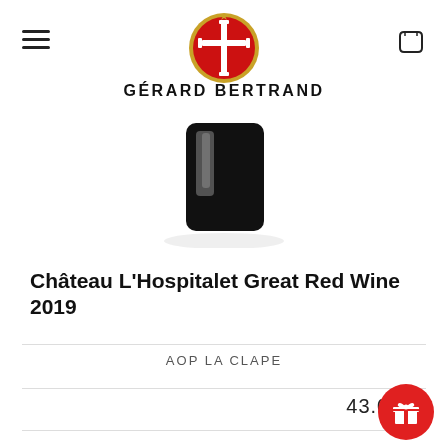[Figure (logo): Gérard Bertrand oval logo with red background, white cross, and gold border]
GÉRARD BERTRAND
[Figure (photo): Bottom portion of a dark wine bottle with black capsule, on white background]
Château L'Hospitalet Great Red Wine 2019
AOP LA CLAPE
43.00 €